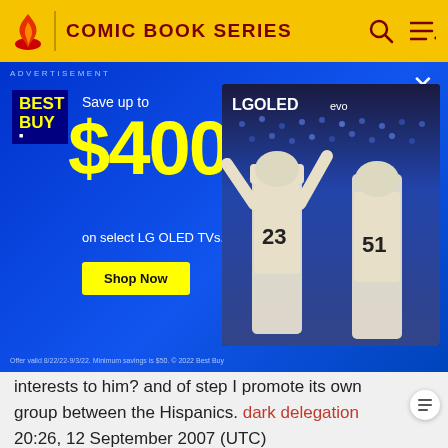COMIC BOOK SERIES
[Figure (screenshot): Best Buy advertisement banner: Save up to $400 on select LG OLED TVs. Shows Shop Now button and LG OLED evo TV with football players on screen.]
interests to him? and of step I promote its own group between the Hispanics. dark delegation 20:26, 12 September 2007 (UTC)
Last Issue
Articles about specific series have Publication Dates section with subjections "Last Issue", "Current Issue", and "Next Issue". I suggest "Last Issue" because change to